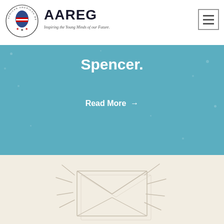[Figure (logo): African American Registry circular logo with Africa continent graphic]
AAREG
Inspiring the Young Minds of our Future.
[Figure (other): Hamburger menu button (three horizontal lines) in a square border]
Spencer.
Read More →
[Figure (illustration): Envelope illustration on cream background with decorative lines suggesting movement]